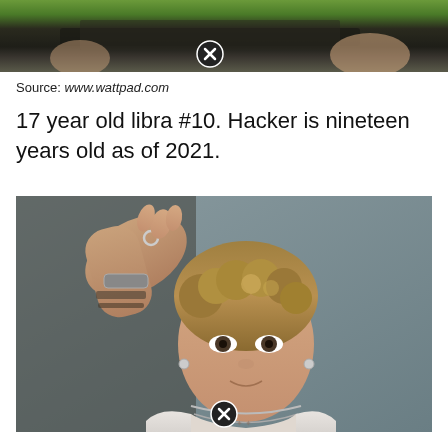[Figure (photo): Partial top photo cropped at top of page, showing dark background with some greenery, with a close/X button overlay at the bottom of the image]
Source: www.wattpad.com
17 year old libra #10. Hacker is nineteen years old as of 2021.
[Figure (photo): Young man with curly hair wearing a silver chain necklace and white hoodie, raising his arm showing tattoos and a bracelet, with a close/X button overlay at the bottom of the image]